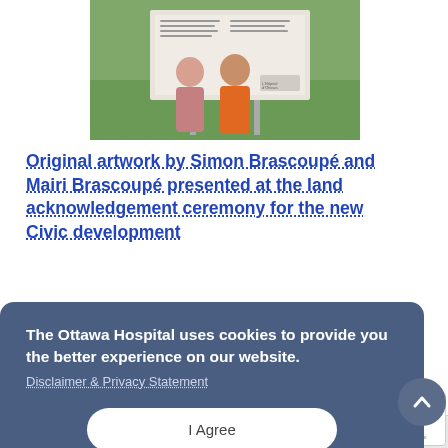[Figure (photo): Two people standing in front of a large outdoor display board/sign in a green field. One person wearing a pink jacket, the other wearing an orange shirt with indigenous artwork. The sign appears to belong to The Ottawa Hospital.]
Original artwork by Simon Brascoupé and Mairi Brascoupé presented at the land acknowledgement ceremony for the new Civic development
Learn the public and private story behind the series of four prints recently presented at the site of the new Civic development.
The Ottawa Hospital uses cookies to provide you the better experience on our website.
Disclaimer & Privacy Statement
I Agree